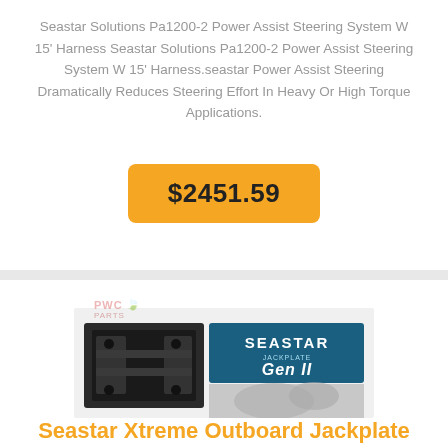Seastar Solutions Pa1200-2 Power Assist Steering System W 15' Harness Seastar Solutions Pa1200-2 Power Assist Steering System W 15' Harness.seastar Power Assist Steering Dramatically Reduces Steering Effort In Heavy Or High Torque Applications.
$2451.59
[Figure (photo): Product photo of Seastar Jackplate Gen II - a black metal jackplate bracket with a blue banner showing 'SEASTAR JACKPLATE Gen II' branding, and a watermark of PWC Parts logo in the background.]
Seastar Xtreme Outboard Jackplate